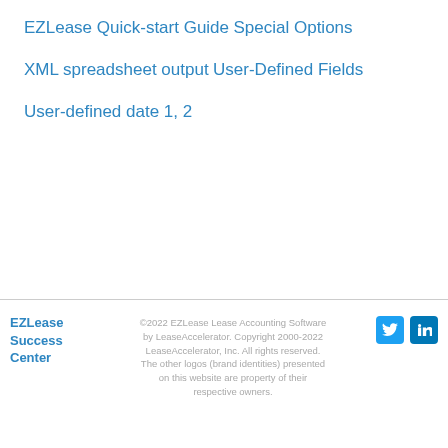EZLease Quick-start Guide
Special Options
XML spreadsheet output
User-Defined Fields
User-defined date 1, 2
EZLease Success Center ©2022 EZLease Lease Accounting Software by LeaseAccelerator. Copyright 2000-2022 LeaseAccelerator, Inc. All rights reserved. The other logos (brand identities) presented on this website are property of their respective owners.